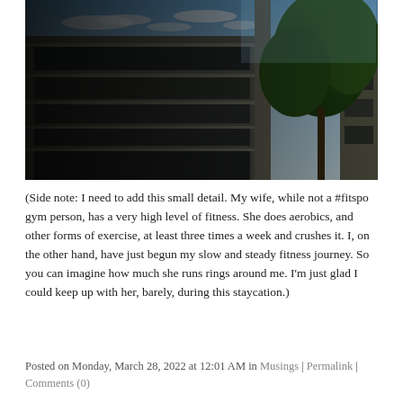[Figure (photo): Outdoor photograph taken from an elevated vantage point showing a multi-storey concrete building with large glass windows on the left, green trees on the right, and a blue sky with scattered white clouds in the background. The scene has a twilight/dusk atmosphere with areas of shadow.]
(Side note: I need to add this small detail. My wife, while not a #fitspo gym person, has a very high level of fitness. She does aerobics, and other forms of exercise, at least three times a week and crushes it. I, on the other hand, have just begun my slow and steady fitness journey. So you can imagine how much she runs rings around me. I'm just glad I could keep up with her, barely, during this staycation.)
Posted on Monday, March 28, 2022 at 12:01 AM in Musings | Permalink | Comments (0)